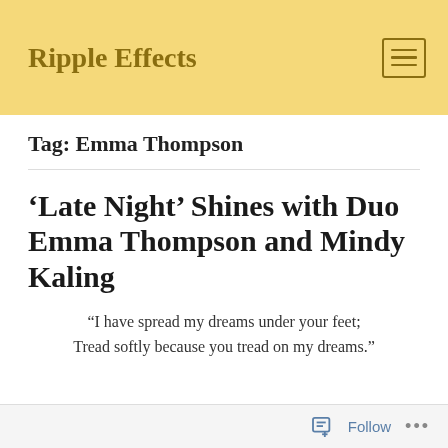Ripple Effects
Tag: Emma Thompson
‘Late Night’ Shines with Duo Emma Thompson and Mindy Kaling
“I have spread my dreams under your feet; Tread softly because you tread on my dreams.”
Follow